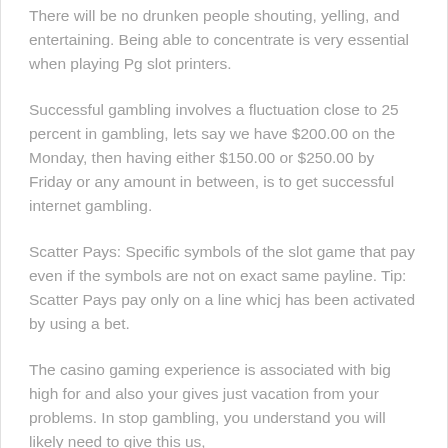There will be no drunken people shouting, yelling, and entertaining. Being able to concentrate is very essential when playing Pg slot printers.
Successful gambling involves a fluctuation close to 25 percent in gambling, lets say we have $200.00 on the Monday, then having either $150.00 or $250.00 by Friday or any amount in between, is to get successful internet gambling.
Scatter Pays: Specific symbols of the slot game that pay even if the symbols are not on exact same payline. Tip: Scatter Pays pay only on a line whicj has been activated by using a bet.
The casino gaming experience is associated with big high for and also your gives just vacation from your problems. In stop gambling, you understand you will likely need to give this us,